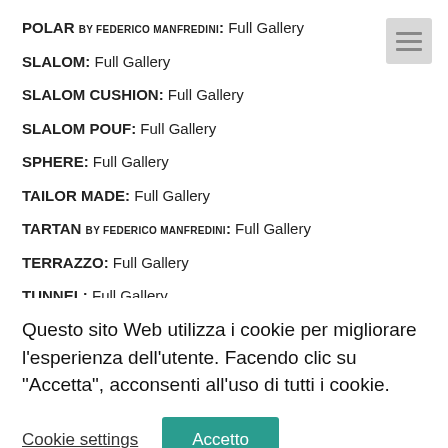POLAR by FEDERICO MANFREDINI: Full Gallery
SLALOM: Full Gallery
SLALOM CUSHION: Full Gallery
SLALOM POUF: Full Gallery
SPHERE: Full Gallery
TAILOR MADE: Full Gallery
TARTAN by FEDERICO MANFREDINI: Full Gallery
TERRAZZO: Full Gallery
TUNNEL: Full Gallery
WAVE by SILVIO DE PONTE: Full Gallery
Questo sito Web utilizza i cookie per migliorare l'esperienza dell'utente. Facendo clic su "Accetta", acconsenti all'uso di tutti i cookie.
Cookie settings  Accetto